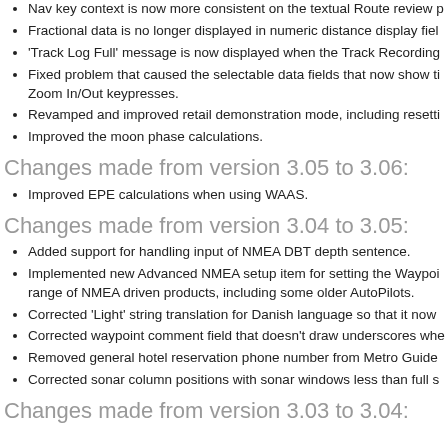Nav key context is now more consistent on the textual Route review page.
Fractional data is no longer displayed in numeric distance display fields.
'Track Log Full' message is now displayed when the Track Recording is full.
Fixed problem that caused the selectable data fields that now show time values to reset on Zoom In/Out keypresses.
Revamped and improved retail demonstration mode, including resetting on power up.
Improved the moon phase calculations.
Changes made from version 3.05 to 3.06:
Improved EPE calculations when using WAAS.
Changes made from version 3.04 to 3.05:
Added support for handling input of NMEA DBT depth sentence.
Implemented new Advanced NMEA setup item for setting the Waypoint ID output format compatible with a range of NMEA driven products, including some older AutoPilots.
Corrected 'Light' string translation for Danish language so that it now correctly reads 'Lys'.
Corrected waypoint comment field that doesn't draw underscores when editing.
Removed general hotel reservation phone number from Metro Guide POI data.
Corrected sonar column positions with sonar windows less than full screen width.
Changes made from version 3.03 to 3.04: